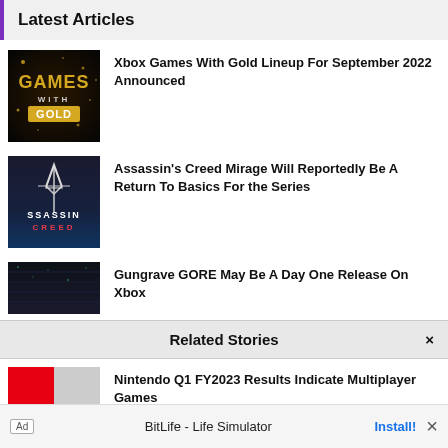Latest Articles
[Figure (screenshot): Xbox Games With Gold promotional image with gold sparkling background and 'GAMES WITH GOLD' text]
Xbox Games With Gold Lineup For September 2022 Announced
[Figure (screenshot): Assassin's Creed logo on dark blue background]
Assassin's Creed Mirage Will Reportedly Be A Return To Basics For the Series
[Figure (screenshot): Gungrave GORE game thumbnail on dark background]
Gungrave GORE May Be A Day One Release On Xbox
Related Stories
[Figure (screenshot): Nintendo game thumbnail with red and grey background]
Nintendo Q1 FY2023 Results Indicate Multiplayer Games
BitLife - Life Simulator
Install!